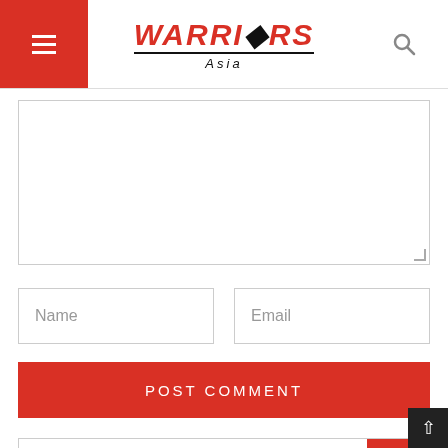Warriors Asia
[Figure (screenshot): Comment text area input box]
Name
Email
POST COMMENT
Search for...
RELATED NEWS
[Figure (infographic): Social share buttons: Facebook, WhatsApp, Pinterest, Twitter, LinkedIn]